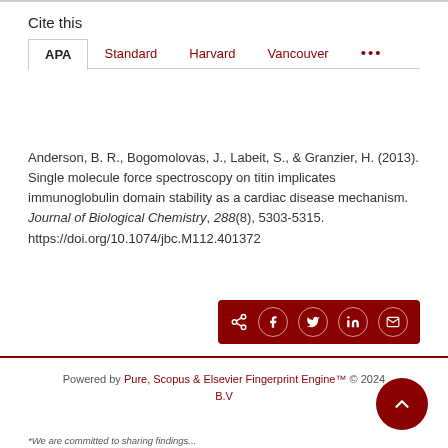Cite this
APA  Standard  Harvard  Vancouver  ...
Anderson, B. R., Bogomolovas, J., Labeit, S., & Granzier, H. (2013). Single molecule force spectroscopy on titin implicates immunoglobulin domain stability as a cardiac disease mechanism. Journal of Biological Chemistry, 288(8), 5303-5315. https://doi.org/10.1074/jbc.M112.401372
Powered by Pure, Scopus & Elsevier Fingerprint Engine™ © 2024 Elsevier B.V